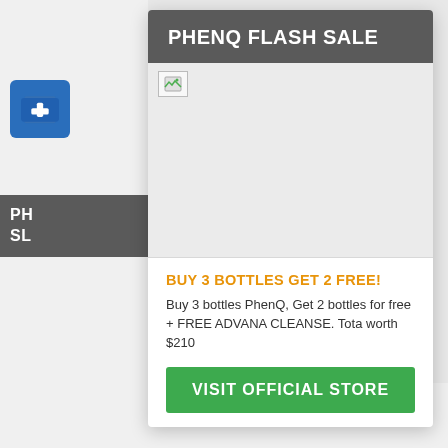PHENQ FLASH SALE
[Figure (screenshot): Broken image placeholder in light grey product image area]
BUY 3 BOTTLES GET 2 FREE!
Buy 3 bottles PhenQ, Get 2 bottles for free + FREE ADVANA CLEANSE. Tota worth $210
VISIT OFFICIAL STORE